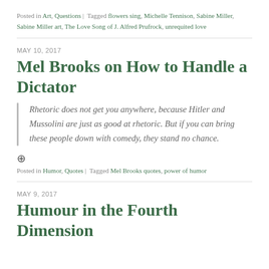Posted in Art, Questions | Tagged flowers sing, Michelle Tennison, Sabine Miller, Sabine Miller art, The Love Song of J. Alfred Prufrock, unrequited love
MAY 10, 2017
Mel Brooks on How to Handle a Dictator
Rhetoric does not get you anywhere, because Hitler and Mussolini are just as good at rhetoric. But if you can bring these people down with comedy, they stand no chance.
Posted in Humor, Quotes | Tagged Mel Brooks quotes, power of humor
MAY 9, 2017
Humour in the Fourth Dimension